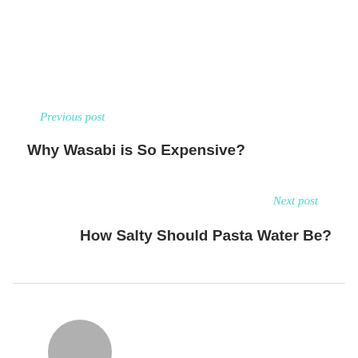Previous post
Why Wasabi is So Expensive?
Next post
How Salty Should Pasta Water Be?